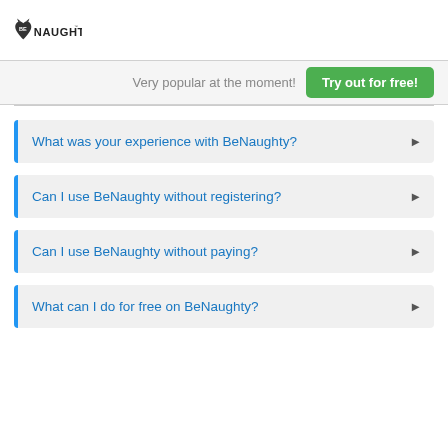[Figure (logo): BeNaughty logo with devil heart icon and stylized text]
Very popular at the moment!
Try out for free!
What was your experience with BeNaughty?
Can I use BeNaughty without registering?
Can I use BeNaughty without paying?
What can I do for free on BeNaughty?